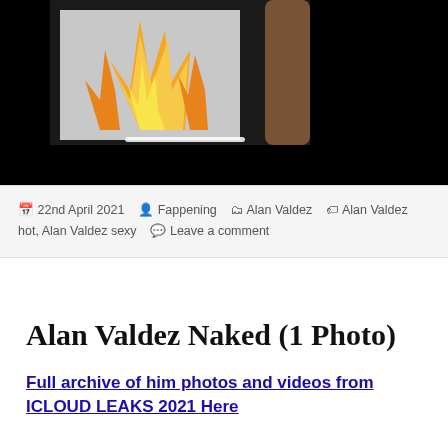[Figure (photo): A dark image showing animated flames on a black background with what appears to be a human figure or limb partially visible on the right side. A white horizontal progress bar is visible near the bottom center of the image.]
22nd April 2021   Fappening   Alan Valdez   Alan Valdez hot, Alan Valdez sexy   Leave a comment
Alan Valdez Naked (1 Photo)
Full archive of him photos and videos from ICLOUD LEAKS 2021 Here